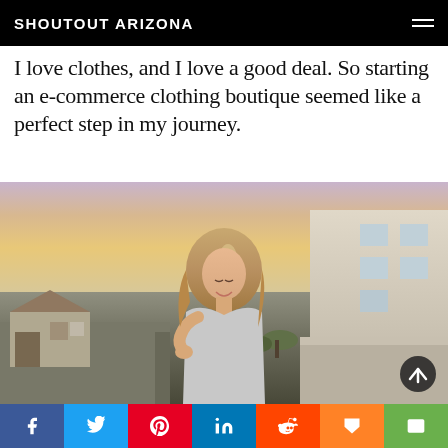SHOUTOUT ARIZONA
I love clothes, and I love a good deal. So starting an e-commerce clothing boutique seemed like a perfect step in my journey.
[Figure (photo): A blonde woman smiling and looking down, wearing an off-shoulder top, standing outdoors in a residential neighborhood at sunset with houses and a streetlight in the background.]
Social share buttons: Facebook, Twitter, Pinterest, LinkedIn, Reddit, Mix, Email